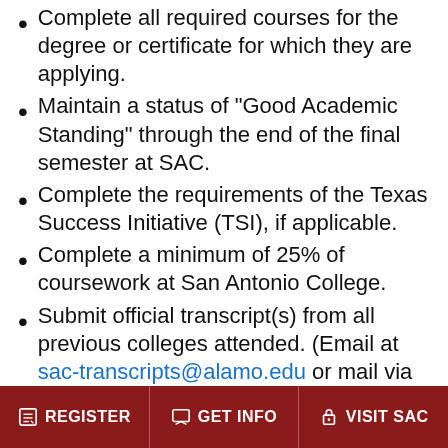Complete all required courses for the degree or certificate for which they are applying.
Maintain a status of "Good Academic Standing" through the end of the final semester at SAC.
Complete the requirements of the Texas Success Initiative (TSI), if applicable.
Complete a minimum of 25% of coursework at San Antonio College.
Submit official transcript(s) from all previous colleges attended. (Email at sac-transcripts@alamo.edu or mail via USPS to San Antonio College Welcome Center 1318 N. Main Avenue, San Antonio, TX 78212)
Complete the online Graduation Application on ACES and submit the Graduation Packet to your Academic Advisor.
A separate graduation application is required for each degree/certificate.
REGISTER | GET INFO | VISIT SAC